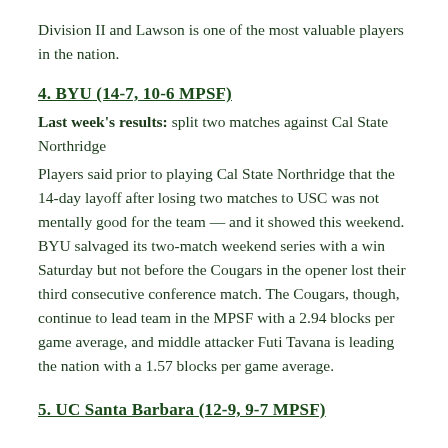Division II and Lawson is one of the most valuable players in the nation.
4. BYU (14-7, 10-6 MPSF)
Last week's results: split two matches against Cal State Northridge
Players said prior to playing Cal State Northridge that the 14-day layoff after losing two matches to USC was not mentally good for the team — and it showed this weekend. BYU salvaged its two-match weekend series with a win Saturday but not before the Cougars in the opener lost their third consecutive conference match. The Cougars, though, continue to lead team in the MPSF with a 2.94 blocks per game average, and middle attacker Futi Tavana is leading the nation with a 1.57 blocks per game average.
5. UC Santa Barbara (12-9, 9-7 MPSF)